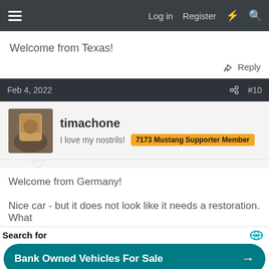≡  Log in  Register  ⚡  🔍
Welcome from Texas!
↩ Reply
Feb 4, 2022  #10
timachone
I love my nostrils!  7173 Mustang Supporter Member
Welcome from Germany!

Nice car - but it does not look like it needs a restoration. What
Search for
Bank Owned Vehicles For Sale →
Cars Under $2000 For Sale →
Yahoo! Search | Sponsored